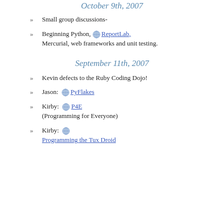October 9th, 2007
Small group discussions-
Beginning Python, ReportLab, Mercurial, web frameworks and unit testing.
September 11th, 2007
Kevin defects to the Ruby Coding Dojo!
Jason: PyFlakes
Kirby: P4E (Programming for Everyone)
Kirby: Programming the Tux Droid